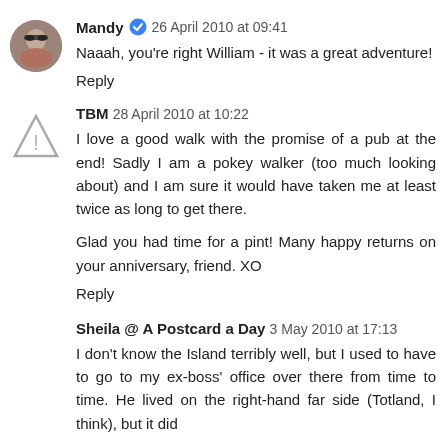Mandy ✔ 26 April 2010 at 09:41
Naaah, you're right William - it was a great adventure!
Reply
TBM 28 April 2010 at 10:22
I love a good walk with the promise of a pub at the end! Sadly I am a pokey walker (too much looking about) and I am sure it would have taken me at least twice as long to get there.

Glad you had time for a pint! Many happy returns on your anniversary, friend. XO
Reply
Sheila @ A Postcard a Day 3 May 2010 at 17:13
I don't know the Island terribly well, but I used to have to go to my ex-boss' office over there from time to time. He lived on the right-hand far side (Totland, I think), but it did